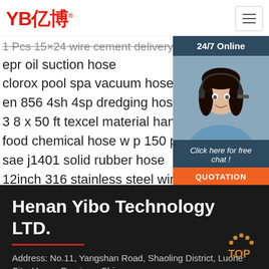[Figure (logo): YB亿博 company logo in red]
epr oil suction hose
clorox pool spa vacuum hose
en 856 4sh 4sp dredging hose sale
3 8 x 50 ft texcel material handling hose
food chemical hose w p 150 psi netherlands
sae j1401 solid rubber hose
12inch 316 stainless steel wire braided teflon h
[Figure (photo): Customer service representative with headset, 24/7 Online chat widget with QUOTATION button]
Henan Yibo Technology LTD.
Address: No.11, Yangshan Road, Shaoling District, Luohe City, Henan Province, China